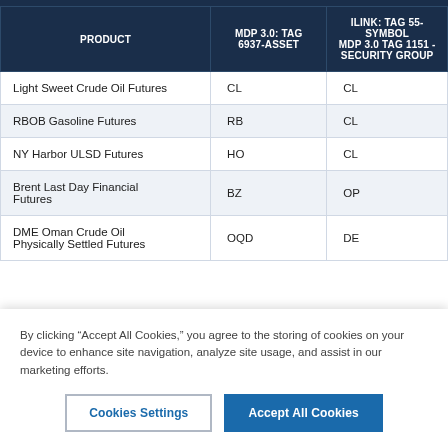| PRODUCT | MDP 3.0: TAG 6937-ASSET | ILINK: TAG 55-SYMBOL MDP 3.0 TAG 1151 - SECURITY GROUP |
| --- | --- | --- |
| Light Sweet Crude Oil Futures | CL | CL |
| RBOB Gasoline Futures | RB | CL |
| NY Harbor ULSD Futures | HO | CL |
| Brent Last Day Financial Futures | BZ | OP |
| DME Oman Crude Oil Physically Settled Futures | OQD | DE |
By clicking “Accept All Cookies,” you agree to the storing of cookies on your device to enhance site navigation, analyze site usage, and assist in our marketing efforts.